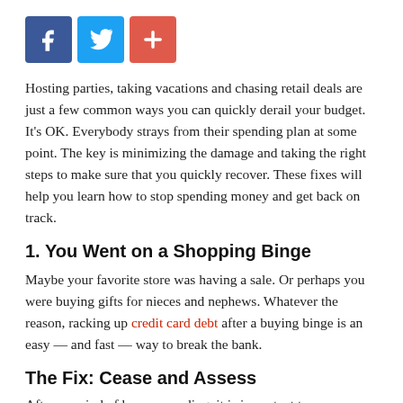[Figure (infographic): Three social sharing icon buttons: Facebook (blue), Twitter (light blue), and a red plus/share button.]
Hosting parties, taking vacations and chasing retail deals are just a few common ways you can quickly derail your budget. It's OK. Everybody strays from their spending plan at some point. The key is minimizing the damage and taking the right steps to make sure that you quickly recover. These fixes will help you learn how to stop spending money and get back on track.
1. You Went on a Shopping Binge
Maybe your favorite store was having a sale. Or perhaps you were buying gifts for nieces and nephews. Whatever the reason, racking up credit card debt after a buying binge is an easy — and fast — way to break the bank.
The Fix: Cease and Assess
After a period of heavy spending, it is important to (temporarily)